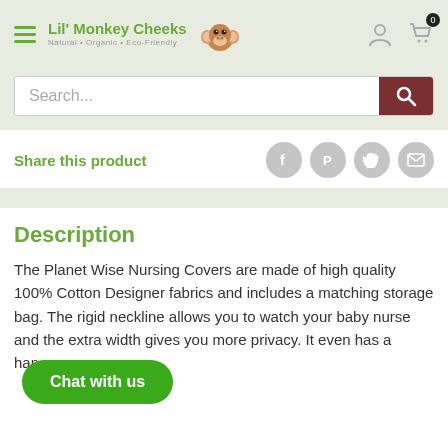[Figure (logo): Lil' Monkey Cheeks logo with monkey illustration and tagline Natural • Organic • Eco-Friendly]
[Figure (screenshot): Search bar with brown search button]
Share this product
[Figure (infographic): Social share icons: Facebook, Pinterest, Twitter, Email]
Description
The Planet Wise Nursing Covers are made of high quality 100% Cotton Designer fabrics and includes a matching storage bag. The rigid neckline allows you to watch your baby nurse and the extra width gives you more privacy. It even has a han...
[Figure (other): Chat with us green oval button overlay]